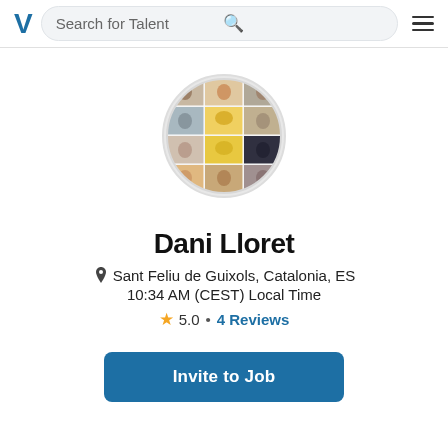Search for Talent
[Figure (photo): Circular profile photo showing a 3x4 mosaic grid of people wearing various masks and accessories]
Dani Lloret
Sant Feliu de Guixols, Catalonia, ES
10:34 AM (CEST) Local Time
5.0 • 4 Reviews
Invite to Job